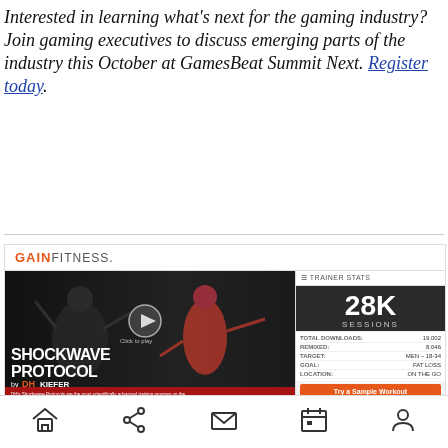Interested in learning what's next for the gaming industry? Join gaming executives to discuss emerging parts of the industry this October at GamesBeat Summit Next. Register today.
[Figure (screenshot): GainFitness app screenshot showing Shockwave Protocol workout by DH Kiefer with a man exercising, a woman in red tank top, play button overlay, trainer stats panel showing 28K sessions, total downloads 19,002, remixed 8,046, target men 18-34, goal fat loss, location on the go, a Try a Sample Workout button, and a Current Activity section.]
Home / Share / Message / Calendar / Profile — navigation bar icons